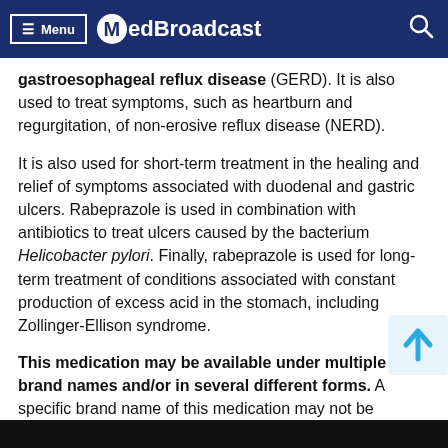≡ Menu  MedBroadcast  🔍
gastroesophageal reflux disease (GERD). It is also used to treat symptoms, such as heartburn and regurgitation, of non-erosive reflux disease (NERD).
It is also used for short-term treatment in the healing and relief of symptoms associated with duodenal and gastric ulcers. Rabeprazole is used in combination with antibiotics to treat ulcers caused by the bacterium Helicobacter pylori. Finally, rabeprazole is used for long-term treatment of conditions associated with constant production of excess acid in the stomach, including Zollinger-Ellison syndrome.
This medication may be available under multiple brand names and/or in several different forms. A specific brand name of this medication may not be